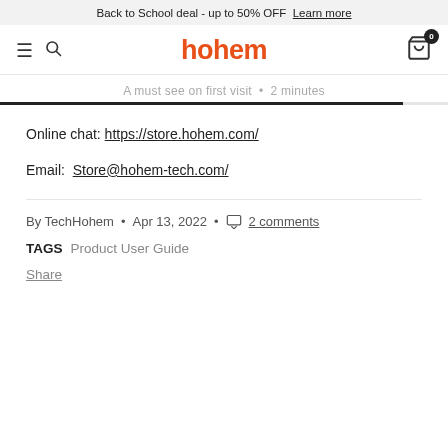Back to School deal - up to 50% OFF  Learn more
[Figure (logo): Hohem brand logo with hamburger menu, search icon, and cart icon with badge 0]
A must see on first visit • 2 minutes
Online chat: https://store.hohem.com/
Email:  Store@hohem-tech.com/
By TechHohem • Apr 13, 2022 • 2 comments
TAGS  Product User Guide
Share